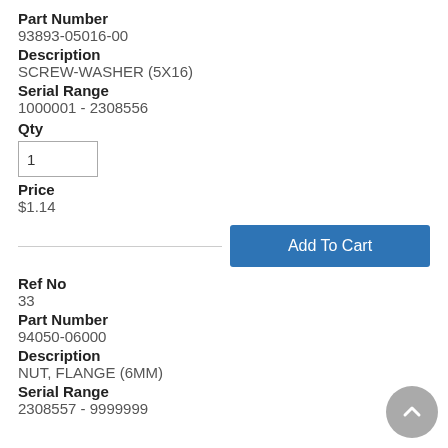Part Number
93893-05016-00
Description
SCREW-WASHER (5X16)
Serial Range
1000001 - 2308556
Qty
1
Price
$1.14
Add To Cart
Ref No
33
Part Number
94050-06000
Description
NUT, FLANGE (6MM)
Serial Range
2308557 - 9999999